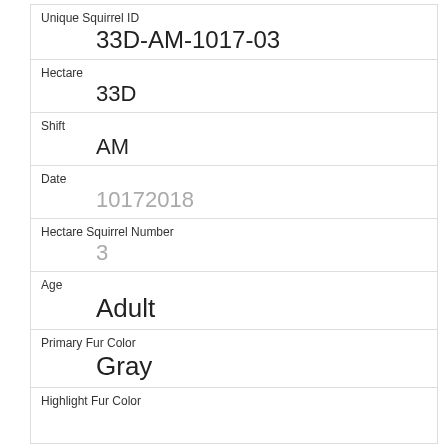| Unique Squirrel ID | 33D-AM-1017-03 |
| Hectare | 33D |
| Shift | AM |
| Date | 10172018 |
| Hectare Squirrel Number | 3 |
| Age | Adult |
| Primary Fur Color | Gray |
| Highlight Fur Color |  |
| Combination of Primary and Highlight Color | Gray+ |
| Color notes |  |